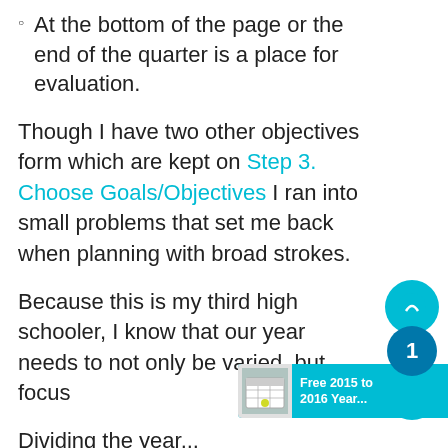At the bottom of the page or the end of the quarter is a place for evaluation.
Though I have two other objectives form which are kept on Step 3. Choose Goals/Objectives I ran into small problems that set me back when planning with broad strokes.
Because this is my third high schooler, I know that our year needs to not only be varied, but focus
Dividing the year...
[Figure (illustration): Teal/cyan decorative circles with the number 1 in the middle, forming a snowman-like stacked circle decoration on the right side of the page.]
[Figure (illustration): Teal banner at bottom right reading 'Free 2015 to 2016 Year...' with a small calendar thumbnail image.]